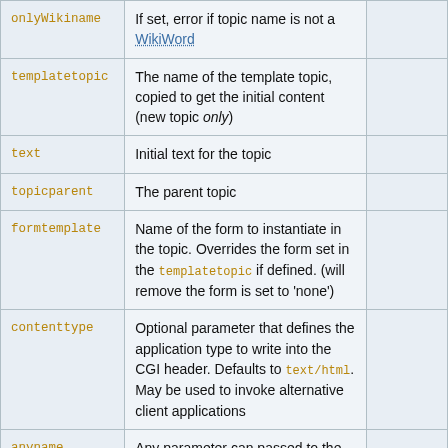| Parameter | Description |  |
| --- | --- | --- |
| onlyWikiname | If set, error if topic name is not a WikiWord |  |
| templatetopic | The name of the template topic, copied to get the initial content (new topic only) |  |
| text | Initial text for the topic |  |
| topicparent | The parent topic |  |
| formtemplate | Name of the form to instantiate in the topic. Overrides the form set in the templatetopic if defined. (will remove the form is set to 'none') |  |
| contenttype | Optional parameter that defines the application type to write into the CGI header. Defaults to text/html. May be used to invoke alternative client applications |  |
| anyname | Any parameter can passed to the new topic; if the template topic contains %URLPARAM{"anyname"}%, |  |